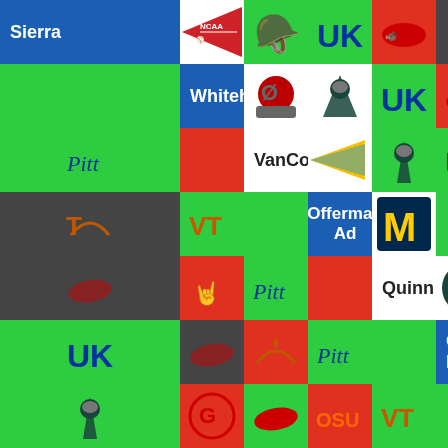[Figure (infographic): College sports bracket/prediction grid showing 7 rows (Sierra, Whitehair, VanCoillie, Offerman Ad, Quinn, Oatman B, Blais 2019) each with a logo and 6 colored cells containing college team logos (Michigan State Spartan, Kentucky UK, Arkansas Razorback, Texas Longhorns/Oklahoma State/Virginia Tech, Pitt). Cells are colored green (correct), red (incorrect), or dark gray (other).]